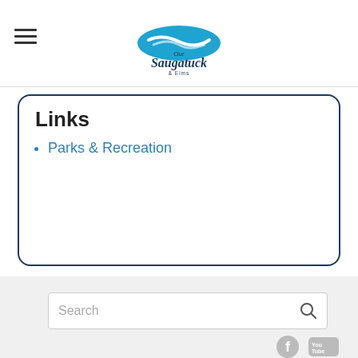Our Saugatuck [logo]
Links
Parks & Recreation
[Figure (screenshot): Search bar with placeholder text 'Search' and a magnifying glass icon]
[Figure (other): Facebook and YouTube social media icons]
Is there something we're missing? Did you find a typo or broken link? Please share your website feedback.